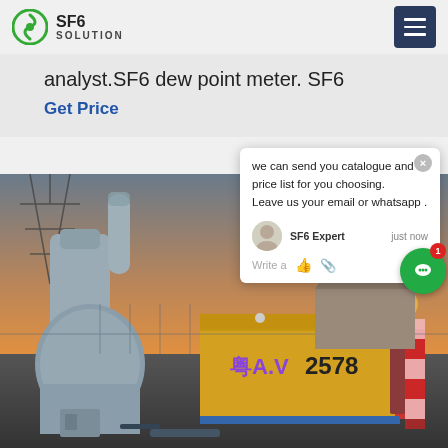SF6 SOLUTION
analyst.SF6 dew point meter. SF6
Get Price
[Figure (photo): Industrial SF6 gas equipment and yellow service truck (numbered 2578) at an electrical substation, with transmission towers and sunset in background]
we can send you catalogue and price list for you choosing.
Leave us your email or whatsapp .
SF6 Expert   just now
Write a